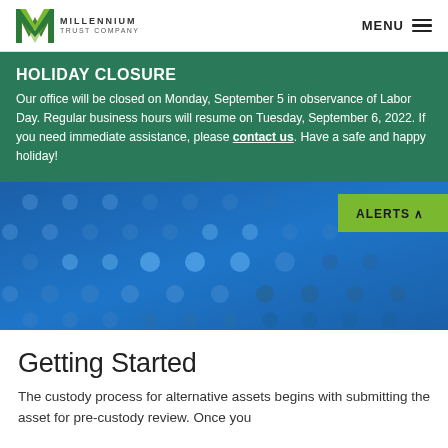Millennium Trust Company | MENU
HOLIDAY CLOSURE
Our office will be closed on Monday, September 5 in observance of Labor Day. Regular business hours will resume on Tuesday, September 6, 2022. If you need immediate assistance, please contact us. Have a safe and happy holiday!
[Figure (illustration): Blue gradient hero banner with decorative dot pattern circles in varying shades of blue. A green 'ALERTS ^' button is positioned in the top right of the banner.]
Getting Started
The custody process for alternative assets begins with submitting the asset for pre-custody review. Once you